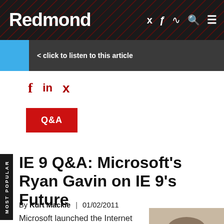Redmond
< click to listen to this article
[Figure (illustration): Social sharing icons: Facebook (f), LinkedIn (in), Twitter bird]
Q&A
IE 9 Q&A: Microsoft's Ryan Gavin on IE 9's Future
By Kurt Mackie | 01/02/2011
Microsoft launched the Internet Explorer 9 beta in September. IE 9 is the
[Figure (photo): Author or subject headshot photo, man with glasses]